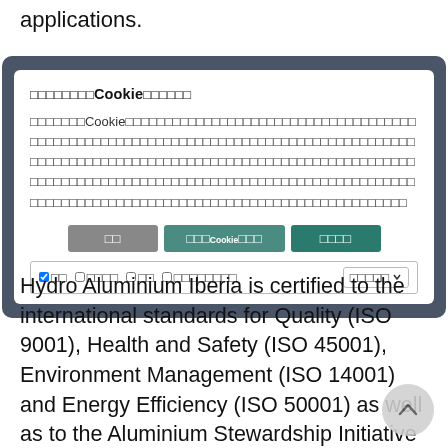applications.
[Figure (screenshot): Cookie consent modal dialog with Japanese text, three buttons (reject, manage cookies, accept), and a checkbox bar with categories and a dropdown.]
Hydro Aluminium Iberia is certified to the international standards for Quality (ISO 9001), Health and Safety (ISO 45001), Environment Management (ISO 14001) and Energy Efficiency (ISO 50001) as well as to the Aluminium Stewardship Initiative performance standard, which